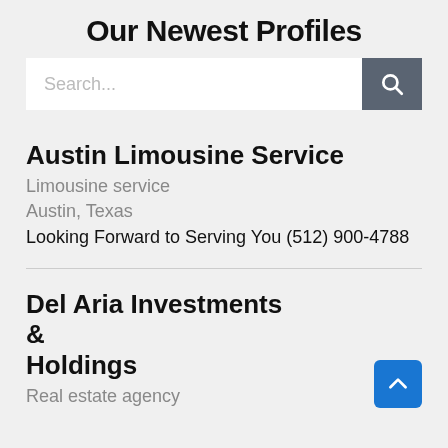Our Newest Profiles
[Figure (screenshot): Search bar with text input placeholder 'Search...' and dark grey search button with magnifying glass icon]
Austin Limousine Service
Limousine service
Austin, Texas
Looking Forward to Serving You (512) 900-4788
Del Aria Investments & Holdings
Real estate agency